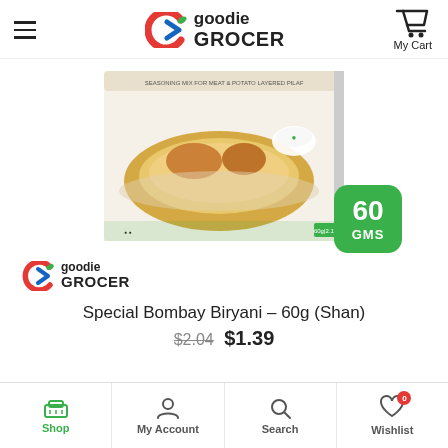goodie GROCER — My Cart
[Figure (photo): Product image of Shan Special Bombay Biryani seasoning mix box, 60g, showing rice dish on packaging]
[Figure (logo): goodie GROCER brand logo, small version]
60 GMS
Special Bombay Biryani – 60g (Shan)
$2.04  $1.39
Shop  My Account  Search  Wishlist 0